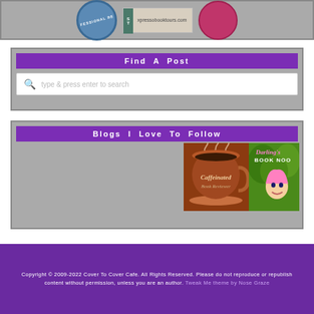[Figure (logo): Top widget with three logos: a blue circular professional reader badge, an Xpresso Book Tours logo, and a pink circular logo]
Find A Post
type & press enter to search
Blogs I Love To Follow
[Figure (illustration): Caffeinated Book Reviewer logo showing a coffee cup, and Darlings Book Nook logo showing a cartoon woman with green background]
Copyright © 2009-2022 Cover To Cover Cafe. All Rights Reserved. Please do not reproduce or republish content without permission, unless you are an author. Tweak Me theme by Nose Graze